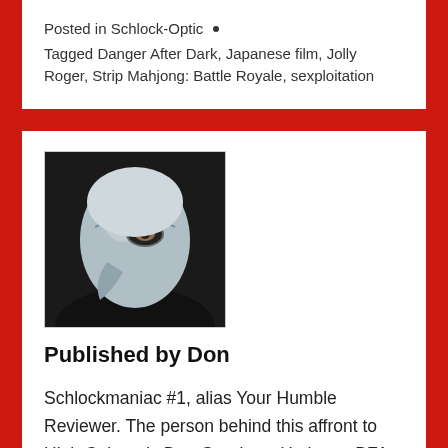Posted in Schlock-Optic  •
Tagged Danger After Dark, Japanese film, Jolly Roger, Strip Mahjong: Battle Royale, sexploitation
[Figure (photo): Avatar photo of a person wearing a stylized bird/plague doctor mask, blue-grey in color, against a dark background]
Published by Don
Schlockmaniac #1, alias Your Humble Reviewer. The person behind this affront to High Culture is Don Guarisco. He has a BFA Degree in Film from Florida State University and has written professionally about pop culture for over a decade. His work in